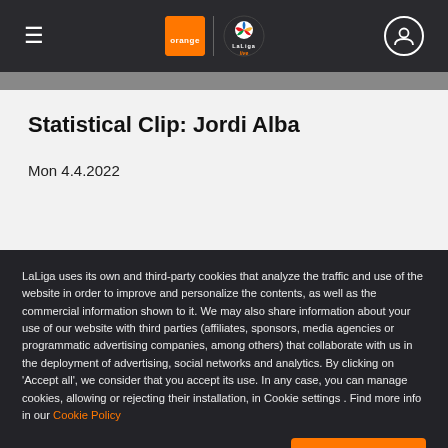LaLiga Live - Navigation bar with hamburger menu, Orange and LaLiga logos, user icon
Statistical Clip: Jordi Alba
Mon 4.4.2022
LaLiga uses its own and third-party cookies that analyze the traffic and use of the website in order to improve and personalize the contents, as well as the commercial information shown to it. We may also share information about your use of our website with third parties (affiliates, sponsors, media agencies or programmatic advertising companies, among others) that collaborate with us in the deployment of advertising, social networks and analytics. By clicking on 'Accept all', we consider that you accept its use. In any case, you can manage cookies, allowing or rejecting their installation, in Cookie settings . Find more info in our Cookie Policy
Cookie settings | Accept cookies